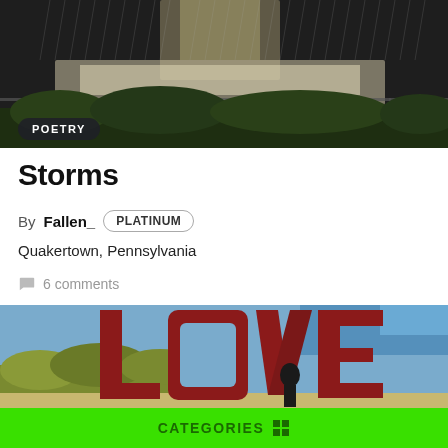[Figure (photo): Dark rainy scene with a tennis court or pool area, rain falling, chain-link fence visible, green shrubs in background]
POETRY
Storms
By Fallen_ PLATINUM
Quakertown, Pennsylvania
6 comments
[Figure (photo): Large red LOVE sculpture outdoors with a person standing in front, trees and blue sky in background]
CATEGORIES